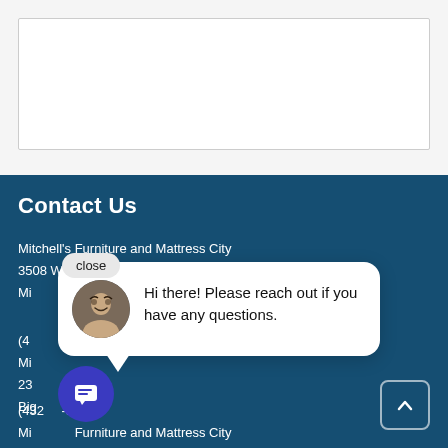[Figure (screenshot): White content area at top of page with bordered white box]
Contact Us
Mitchell's Furniture and Mattress City
3508 W. Wall St
Midland, TX
(4…)
Mitchell's Furniture and Mattress City
23…
Big Spring, TX
(432)…-8491
Mitchell's Furniture and Mattress City
2727 Andrews Hwy
Odessa, TX 79762
[Figure (screenshot): Chat popup with avatar photo and message: Hi there! Please reach out if you have any questions.]
[Figure (screenshot): Close button pill overlay above chat popup]
[Figure (screenshot): Blue circular chat launcher button with message icon]
[Figure (screenshot): Back to top button with upward chevron, bottom right corner]